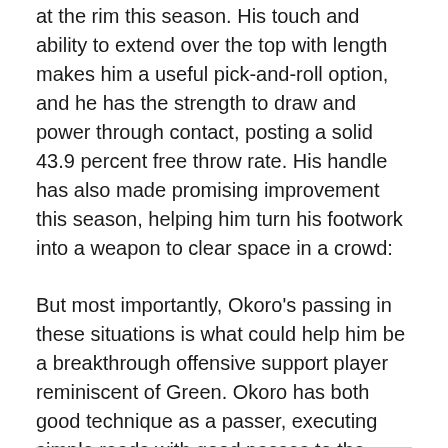at the rim this season. His touch and ability to extend over the top with length makes him a useful pick-and-roll option, and he has the strength to draw and power through contact, posting a solid 43.9 percent free throw rate. His handle has also made promising improvement this season, helping him turn his footwork into a weapon to clear space in a crowd:
But most importantly, Okoro’s passing in these situations is what could help him be a breakthrough offensive support player reminiscent of Green. Okoro has both good technique as a passer, executing simple reads with good passes to the shooting pocket:
And the vision to make some truly special reads in transition and off primary actions.